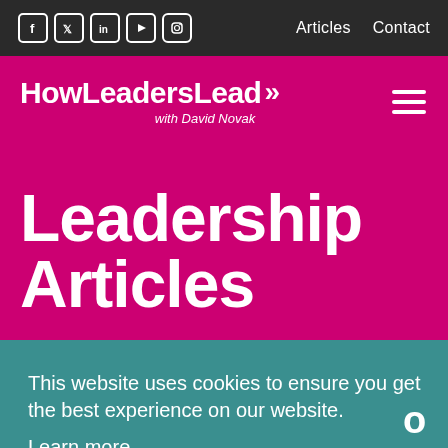Social icons (Facebook, Twitter, LinkedIn, YouTube, Instagram) | Articles  Contact
[Figure (logo): How Leaders Lead >> with David Novak logo, white text on magenta background]
Leadership Articles
This website uses cookies to ensure you get the best experience on our website.
Learn more
Decline    Accept